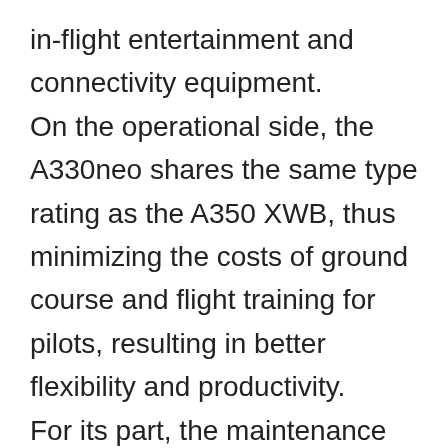in-flight entertainment and connectivity equipment. On the operational side, the A330neo shares the same type rating as the A350 XWB, thus minimizing the costs of ground course and flight training for pilots, resulting in better flexibility and productivity. For its part, the maintenance staff, thanks to the aircraft's new Skywise data connectivity system, will have a help that will allow them to predict prevent potential problems before they occur, thus guaranteeing maximum productivity of the new Airbus in revenue service